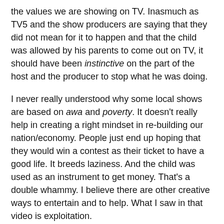the values we are showing on TV. Inasmuch as TV5 and the show producers are saying that they did not mean for it to happen and that the child was allowed by his parents to come out on TV, it should have been instinctive on the part of the host and the producer to stop what he was doing.
I never really understood why some local shows are based on awa and poverty. It doesn't really help in creating a right mindset in re-building our nation/economy. People just end up hoping that they would win a contest as their ticket to have a good life. It breeds laziness. And the child was used as an instrument to get money. That's a double whammy. I believe there are other creative ways to entertain and to help. What I saw in that video is exploitation.
Some would probably say I'm being a prude and should just see it as harmless fun. Pasensya na, but that's not what I learned from my parents. I was given dignity and respect as a child and I've done the same with my son. I hope it's not too much to ask these show producers to review what they are doing vis-a-vis proper values (check your GMRC). They have so much influence on so many people, so a little effort